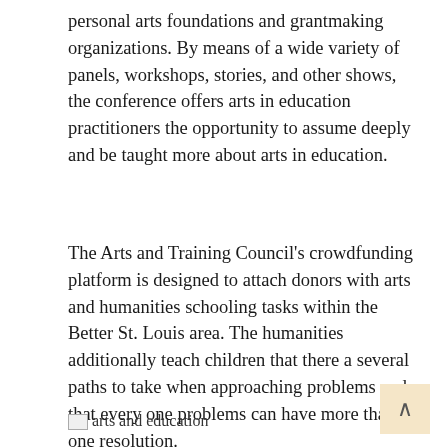personal arts foundations and grantmaking organizations. By means of a wide variety of panels, workshops, stories, and other shows, the conference offers arts in education practitioners the opportunity to assume deeply and be taught more about arts in education.
The Arts and Training Council's crowdfunding platform is designed to attach donors with arts and humanities schooling tasks within the Better St. Louis area. The humanities additionally teach children that there a several paths to take when approaching problems and that every one problems can have more than one resolution.
[Figure (photo): Broken image placeholder labeled 'arts and education']